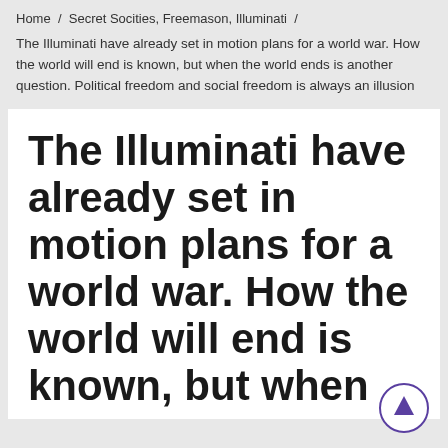Home / Secret Socities, Freemason, Illuminati / The Illuminati have already set in motion plans for a world war. How the world will end is known, but when the world ends is another question. Political freedom and social freedom is always an illusion
The Illuminati have already set in motion plans for a world war. How the world will end is known, but when